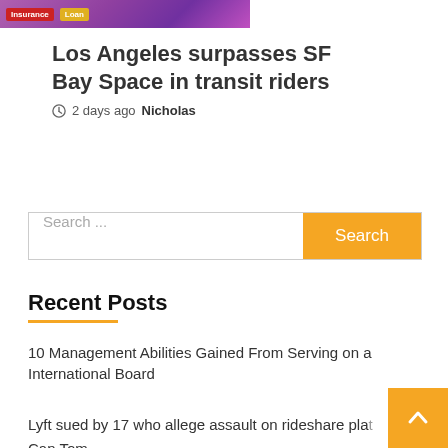[Figure (photo): Purple/violet banner image with Insurance and Loan badge labels]
Los Angeles surpasses SF Bay Space in transit riders
2 days ago  Nicholas
Search ...
Recent Posts
10 Management Abilities Gained From Serving on a International Board
Lyft sued by 17 who allege assault on rideshare pla...
Can Tom...